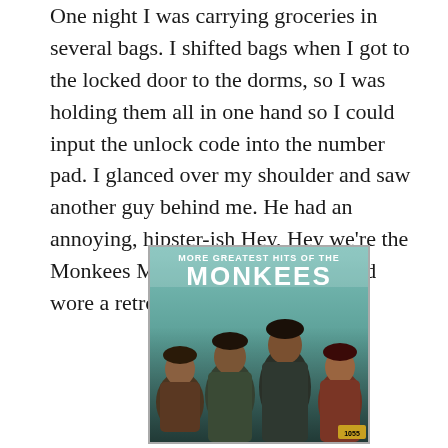One night I was carrying groceries in several bags.  I shifted bags when I got to the locked door to the dorms, so I was holding them all in one hand so I could input the unlock code into the number pad.  I glanced over my shoulder and saw another guy behind me.  He had an annoying, hipster-ish Hey, Hey we're the Monkees Mickey Dolenz haircut and wore a retro orangey striped shirt.
[Figure (photo): Album cover of 'More Greatest Hits of the Monkees' showing four young men posed together against a teal/green background, with the title text at the top in white and yellow letters.]